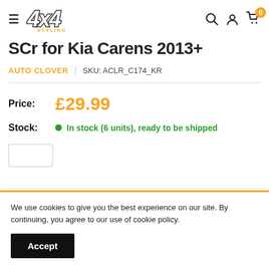4x4 Styling — navigation header with hamburger menu, logo, search, account, and cart (0 items)
SCr for Kia Carens 2013+
AUTO CLOVER | SKU: ACLR_C174_KR
Price: £29.99
Stock: In stock (6 units), ready to be shipped
We use cookies to give you the best experience on our site. By continuing, you agree to our use of cookie policy.
Accept